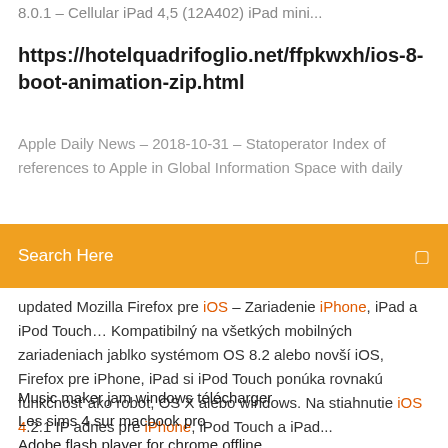8.0.1 – Cellular iPad 4,5 (12A402) iPad mini...
https://hotelquadrifoglio.net/ffpkwxh/ios-8-boot-animation-zip.html
Apple Daily News – 2018-10-31 – Statoperator Index of references to Apple in Global Information Space with daily
Search Here
updated Mozilla Firefox pre iOS – Zariadenie iPhone, iPad a iPod Touch… Kompatibilný na všetkých mobilných zariadeniach jablko systémom OS 8.2 alebo novší iOS, Firefox pre iPhone, iPad si iPod Touch ponúka rovnakú funkčnosť ako robot, OS X alebo windows. Na stiahnutie iOS 4.2.1 IP adries pre iPhone, iPod Touch a iPad...
Music maker jam windows télécharger
Les sims 4 sur macbook pro
Adobe flash player for chrome offline